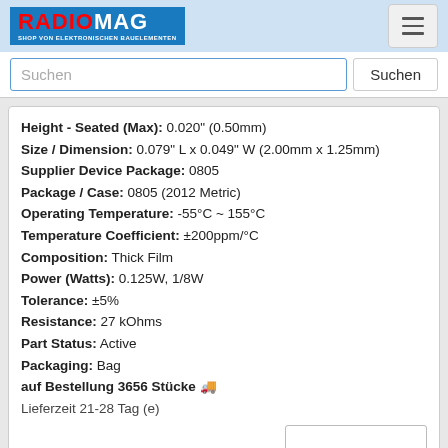RADIOMAG - SHOP VON ELEKTRONISCHEN BAUELEMENTEN
Suchen
Height - Seated (Max): 0.020" (0.50mm)
Size / Dimension: 0.079" L x 0.049" W (2.00mm x 1.25mm)
Supplier Device Package: 0805
Package / Case: 0805 (2012 Metric)
Operating Temperature: -55°C ~ 155°C
Temperature Coefficient: ±200ppm/°C
Composition: Thick Film
Power (Watts): 0.125W, 1/8W
Tolerance: ±5%
Resistance: 27 kOhms
Part Status: Active
Packaging: Bag
auf Bestellung 3656 Stücke
Lieferzeit 21-28 Tag (e)
SR1-0805-322
Hersteller: NTE Electronics, Inc
Description: RES 22K OHM 5% 1/8W 0805
Packaging: Bag